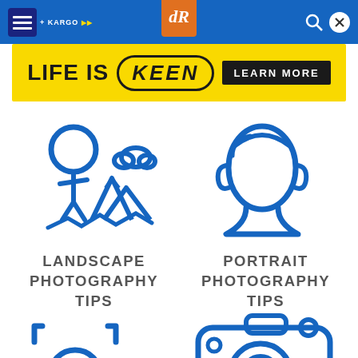[Figure (screenshot): Website screenshot showing a photography tips resource page with navigation header containing KARGO logo and dR logo, a yellow KEEN advertisement banner reading 'LIFE IS KEEN LEARN MORE', two icon+text cards for 'LANDSCAPE PHOTOGRAPHY TIPS' and 'PORTRAIT PHOTOGRAPHY TIPS', and partial icons for two more categories at the bottom.]